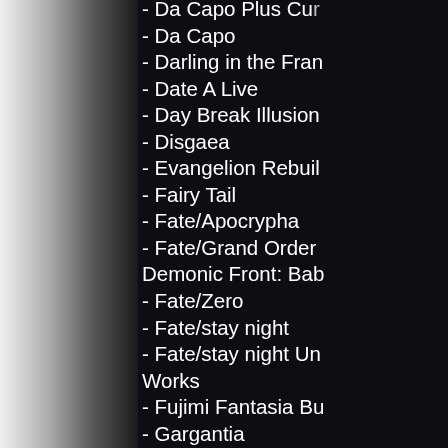- Da Capo Plus Cu[r...]
- Da Capo
- Darling in the Fran[xx]
- Date A Live
- Day Break Illusion
- Disgaea
- Evangelion Rebuil[d]
- Fairy Tail
- Fate/Apocrypha
- Fate/Grand Order Demonic Front: Bab[ylon]
- Fate/Zero
- Fate/stay night
- Fate/stay night Un[limited Blade] Works
- Fujimi Fantasia Bu[nko]
- Gargantia
- Girl Friend Beta
- Goblin Slayer
- Godzilla
- Guilty Crown
- Gurren Lagann
- Haruhi
- Hatsune Miku Proj[ect] (Vocaloid)
- Hololive Productio[n] Gen
- Hololive Productio[n] Gen